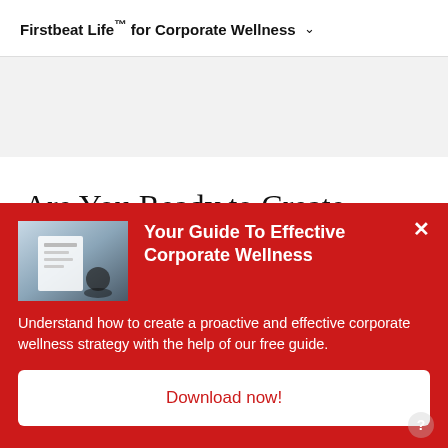Firstbeat Life™ for Corporate Wellness ∨
Are You Ready to Create Positive
[Figure (infographic): Red popup banner with book/guide image on left, close button top right, title 'Your Guide To Effective Corporate Wellness', description text, and Download now! button]
Your Guide To Effective Corporate Wellness
Understand how to create a proactive and effective corporate wellness strategy with the help of our free guide.
Download now!